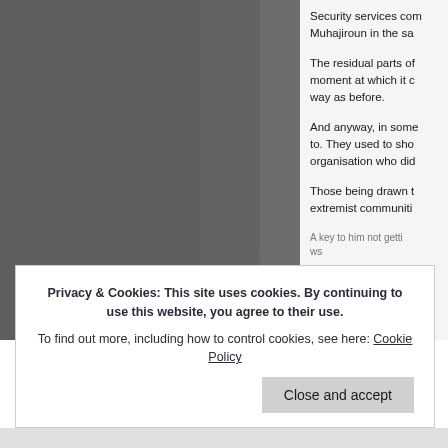[Figure (photo): A dark grey image occupying the left portion of the page, showing a torn or jagged paper edge on the right side against a grey background.]
Security services com Muhajiroun in the sa
The residual parts of moment at which it c way as before.
And anyway, in some to. They used to sho organisation who did
Those being drawn t extremist communiti
A key to him not gett ws
Privacy & Cookies: This site uses cookies. By continuing to use this website, you agree to their use.
To find out more, including how to control cookies, see here: Cookie Policy
Close and accept